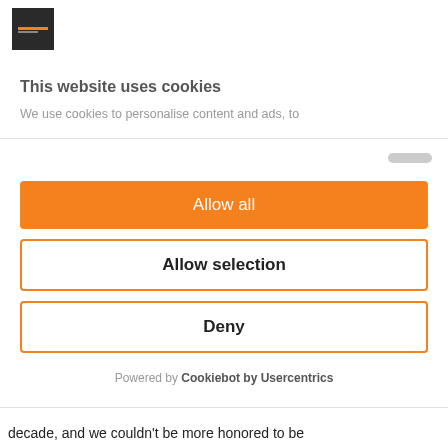[Figure (logo): Small square logo with dark background and orange/yellow horizontal line, likely a website logo]
This website uses cookies
We use cookies to personalise content and ads, to
[Figure (other): Cookie consent buttons panel: Allow all (orange filled), Allow selection (orange outline), Deny (orange outline)]
Powered by Cookiebot by Usercentrics
decade, and we couldn't be more honored to be